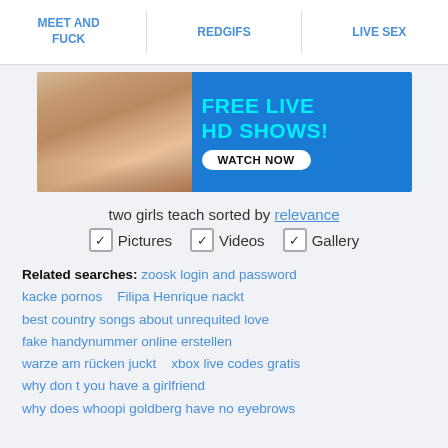MEET AND FUCK   REDGIFS   LIVE SEX
[Figure (infographic): Banner advertisement showing a woman in pink bikini on left, blue background on right with cyan text 'FREE LIVE HD SHOWS!' and white pill button 'WATCH NOW']
two girls teach sorted by relevance
✓ Pictures   ✓ Videos   ✓ Gallery
Related searches: zoosk login and password  kacke pornos  Filipa Henrique nackt  best country songs about unrequited love  fake handynummer online erstellen  warze am rücken juckt  xbox live codes gratis  why don t you have a girlfriend  why does whoopi goldberg have no eyebrows